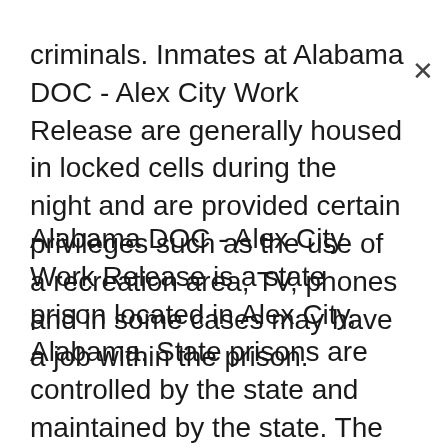criminals. Inmates at Alabama DOC - Alex City Work Release are generally housed in locked cells during the night and are provided certain privileges such as the use of a recreation area, TV, phones and in some cases may have a job within the prison.
Alabama DOC - Alex City Work Release is a state prison located in Alex City, Alabama. State prisons are controlled by the state and maintained by the state. The facilities are regularly fenced around the perimeter, which is reinforced by a tall wall, barbed wire and electricity that will shock like the prisoner in an attempt to escape, similar to being tased. For the